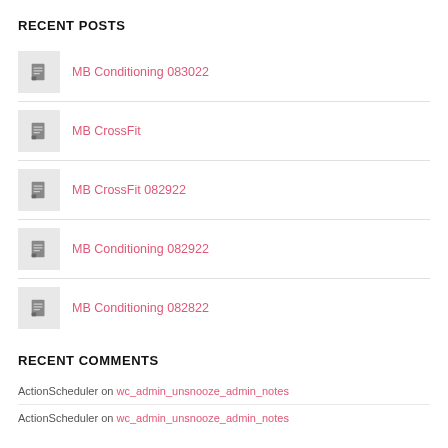RECENT POSTS
MB Conditioning 083022
MB CrossFit
MB CrossFit 082922
MB Conditioning 082922
MB Conditioning 082822
RECENT COMMENTS
ActionScheduler on wc_admin_unsnooze_admin_notes
ActionScheduler on wc_admin_unsnooze_admin_notes